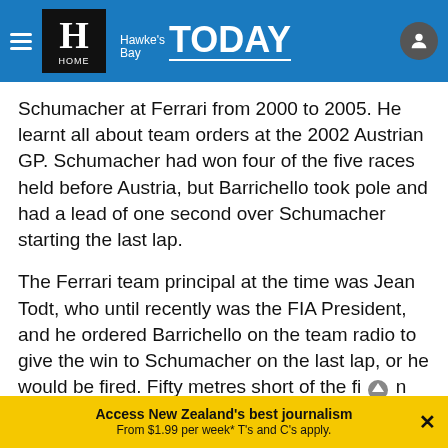Hawke's Bay TODAY — HOME
Schumacher at Ferrari from 2000 to 2005. He learnt all about team orders at the 2002 Austrian GP. Schumacher had won four of the five races held before Austria, but Barrichello took pole and had a lead of one second over Schumacher starting the last lap.
The Ferrari team principal at the time was Jean Todt, who until recently was the FIA President, and he ordered Barrichello on the team radio to give the win to Schumacher on the last lap, or he would be fired. Fifty metres short of the fi▲n line, Barrichello let
Access New Zealand's best journalism From $1.99 per week* T's and C's apply.